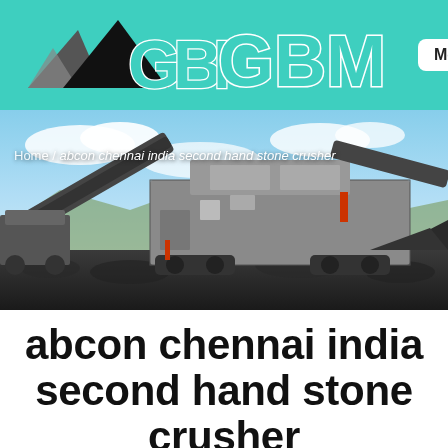[Figure (logo): GBM logo with teal mountain icon and large teal GBM text on teal header background]
[Figure (photo): Large mobile stone crusher machine on a job site with conveyor belts, surrounded by crushed rock, against a blue sky background. Breadcrumb text overlay reads: Home / abcon chennai india second hand stone crusher]
abcon chennai india second hand stone crusher